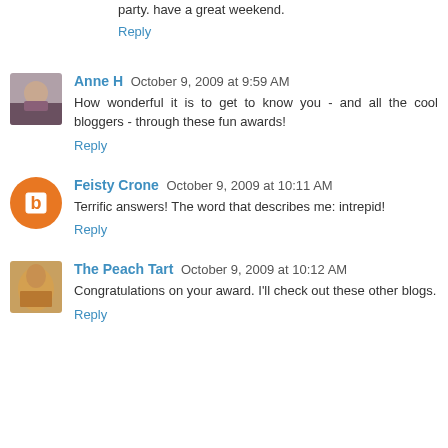party. have a great weekend.
Reply
Anne H  October 9, 2009 at 9:59 AM
How wonderful it is to get to know you - and all the cool bloggers - through these fun awards!
Reply
Feisty Crone  October 9, 2009 at 10:11 AM
Terrific answers! The word that describes me: intrepid!
Reply
The Peach Tart  October 9, 2009 at 10:12 AM
Congratulations on your award. I'll check out these other blogs.
Reply